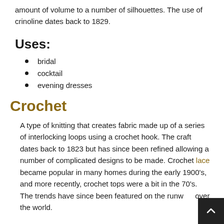amount of volume to a number of silhouettes. The use of crinoline dates back to 1829.
Uses:
bridal
cocktail
evening dresses
Crochet
A type of knitting that creates fabric made up of a series of interlocking loops using a crochet hook. The craft dates back to 1823 but has since been refined allowing a number of complicated designs to be made. Crochet lace became popular in many homes during the early 1900's, and more recently, crochet tops were a bit in the 70's. The trends have since been featured on the runways over the world.